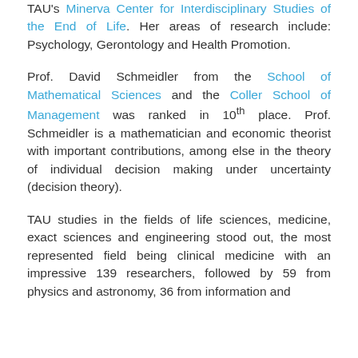TAU's Minerva Center for Interdisciplinary Studies of the End of Life. Her areas of research include: Psychology, Gerontology and Health Promotion.
Prof. David Schmeidler from the School of Mathematical Sciences and the Coller School of Management was ranked in 10th place. Prof. Schmeidler is a mathematician and economic theorist with important contributions, among else in the theory of individual decision making under uncertainty (decision theory).
TAU studies in the fields of life sciences, medicine, exact sciences and engineering stood out, the most represented field being clinical medicine with an impressive 139 researchers, followed by 59 from physics and astronomy, 36 from information and